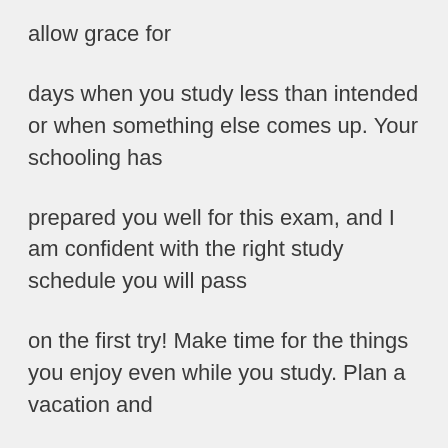allow grace for
days when you study less than intended or when something else comes up. Your schooling has
prepared you well for this exam, and I am confident with the right study schedule you will pass
on the first try! Make time for the things you enjoy even while you study. Plan a vacation and